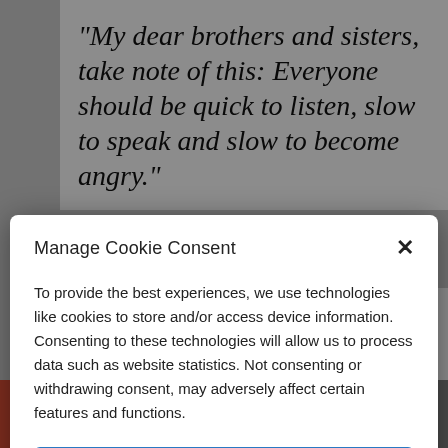“My dear brothers and sisters, take note of this: Everyone should be quick to listen, slow to speak and slow to become angry.”
therefore, it’s a good idea to slow down
Manage Cookie Consent
To provide the best experiences, we use technologies like cookies to store and/or access device information. Consenting to these technologies will allow us to process data such as website statistics. Not consenting or withdrawing consent, may adversely affect certain features and functions.
Accept
Cookie Policy  Privacy Policy